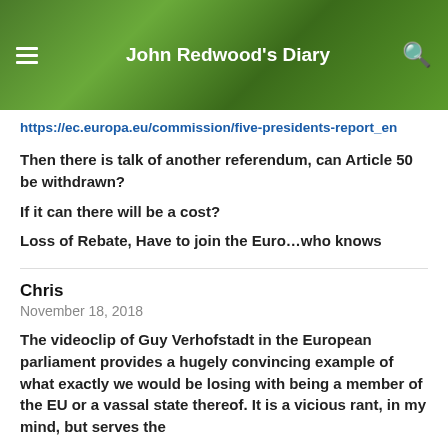John Redwood's Diary
https://ec.europa.eu/commission/five-presidents-report_en
Then there is talk of another referendum, can Article 50 be withdrawn?
If it can there will be a cost?
Loss of Rebate, Have to join the Euro…who knows
Chris
November 18, 2018
The videoclip of Guy Verhofstadt in the European parliament provides a hugely convincing example of what exactly we would be losing with being a member of the EU or a vassal state thereof. It is a vicious rant, in my mind, but serves the